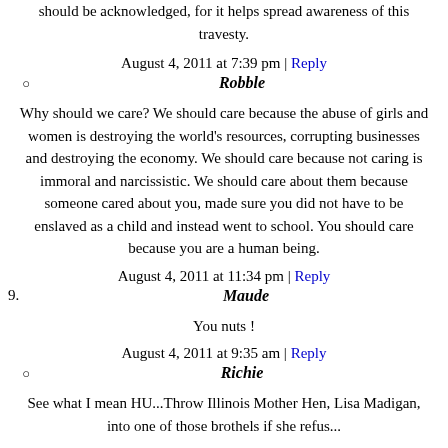should be acknowledged, for it helps spread awareness of this travesty.
August 4, 2011 at 7:39 pm | Reply
Robble
Why should we care? We should care because the abuse of girls and women is destroying the world's resources, corrupting businesses and destroying the economy. We should care because not caring is immoral and narcissistic. We should care about them because someone cared about you, made sure you did not have to be enslaved as a child and instead went to school. You should care because you are a human being.
August 4, 2011 at 11:34 pm | Reply
9. Maude
You nuts !
August 4, 2011 at 9:35 am | Reply
Richie
See what I mean HU...Throw Illinois Mother Hen, Lisa Madigan, into one of those brothels if she refus...